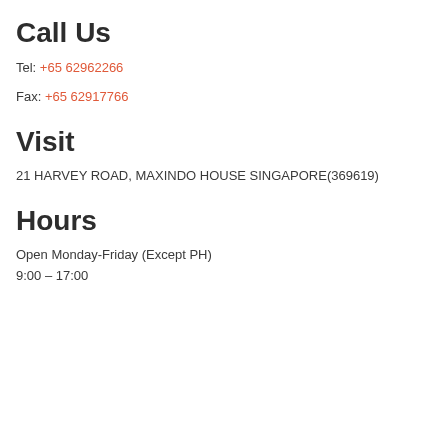Call Us
Tel: +65 62962266
Fax: +65 62917766
Visit
21 HARVEY ROAD, MAXINDO HOUSE SINGAPORE(369619)
Hours
Open Monday-Friday (Except PH)
9:00 – 17:00